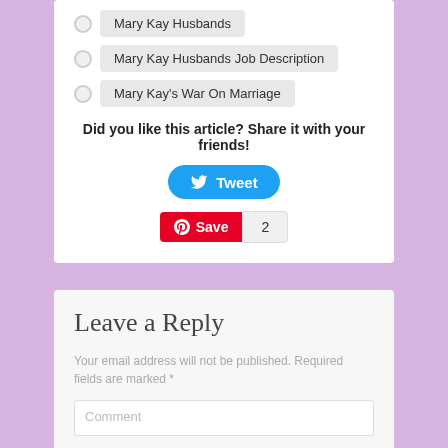Mary Kay Husbands
Mary Kay Husbands Job Description
Mary Kay's War On Marriage
Did you like this article? Share it with your friends!
[Figure (other): Tweet button (blue rounded rectangle with Twitter bird icon and 'Tweet' text)]
[Figure (other): Pinterest Save button (red rectangle with P icon and 'Save' text) with count badge showing '2']
Leave a Reply
Your email address will not be published. Required fields are marked *
Comment